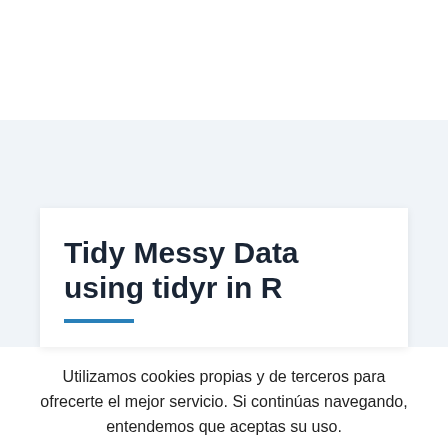Tidy Messy Data using tidyr in R
Utilizamos cookies propias y de terceros para ofrecerte el mejor servicio. Si continúas navegando, entendemos que aceptas su uso.
Acepto | Rechazar | Ajustes
Leer más